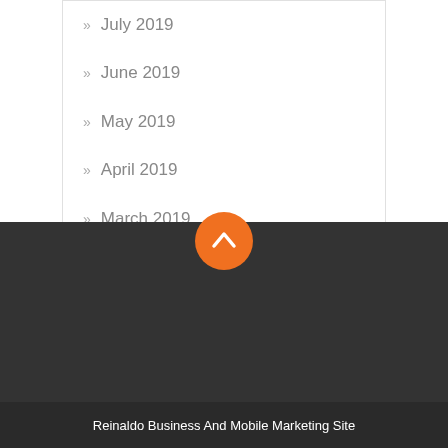July 2019
June 2019
May 2019
April 2019
March 2019
February 2019
[Figure (illustration): Orange circle button with white upward chevron arrow, scroll-to-top button]
Reinaldo Business And Mobile Marketing Site